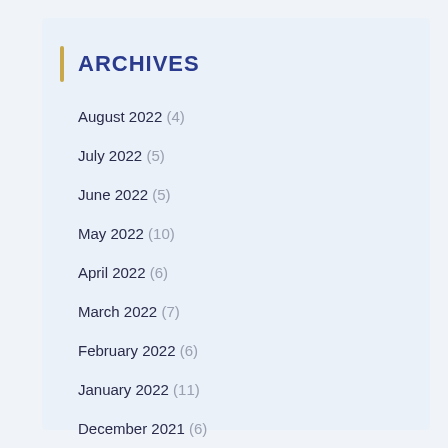ARCHIVES
August 2022 (4)
July 2022 (5)
June 2022 (5)
May 2022 (10)
April 2022 (6)
March 2022 (7)
February 2022 (6)
January 2022 (11)
December 2021 (6)